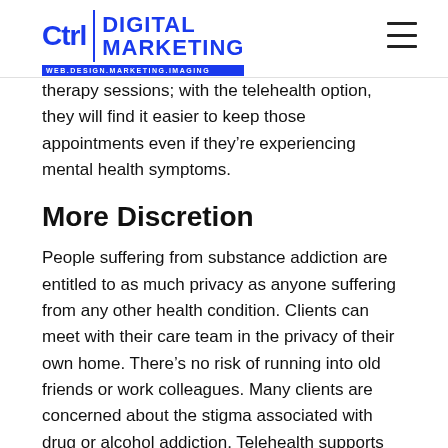Ctrl | DIGITAL MARKETING — WEB.DESIGN.MARKETING.IMAGING
therapy sessions; with the telehealth option, they will find it easier to keep those appointments even if they're experiencing mental health symptoms.
More Discretion
People suffering from substance addiction are entitled to as much privacy as anyone suffering from any other health condition. Clients can meet with their care team in the privacy of their own home. There's no risk of running into old friends or work colleagues. Many clients are concerned about the stigma associated with drug or alcohol addiction. Telehealth supports